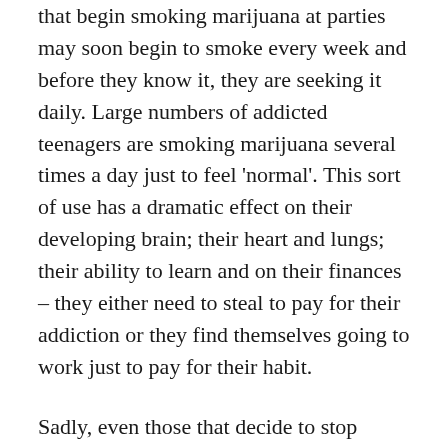that begin smoking marijuana at parties may soon begin to smoke every week and before they know it, they are seeking it daily. Large numbers of addicted teenagers are smoking marijuana several times a day just to feel 'normal'. This sort of use has a dramatic effect on their developing brain; their heart and lungs; their ability to learn and on their finances – they either need to steal to pay for their addiction or they find themselves going to work just to pay for their habit.
Sadly, even those that decide to stop using cannabis are unable to repair the irreversible brain damage that may have occurred if they have been regular users during the critical brain development phase. Psychiatrist, Dr Paula Riggs, quoted the statistics from long-term research in New Zealand that was conducted on adolescents that regularly smoked marijuana. The research was carried out over 38